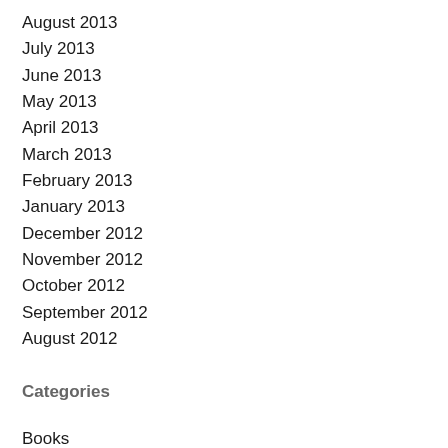August 2013
July 2013
June 2013
May 2013
April 2013
March 2013
February 2013
January 2013
December 2012
November 2012
October 2012
September 2012
August 2012
Categories
Books
Events